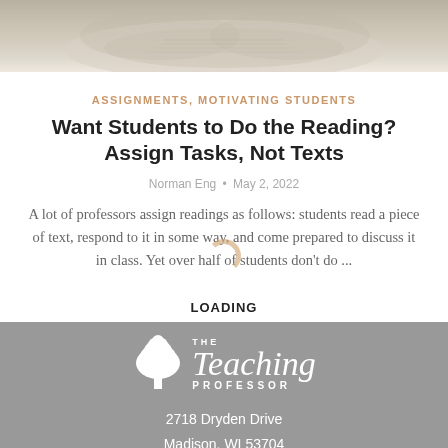[Figure (photo): Close-up photo of open books/pages, blurred background, warm tan tones]
ASSIGNMENTS, MOTIVATING STUDENTS
Want Students to Do the Reading? Assign Tasks, Not Texts
Norman Eng • May 2, 2022
A lot of professors assign readings as follows: students read a piece of text, respond to it in some way, and come prepared to discuss it in class. Yet over half of students don't do ...
LOADING
[Figure (logo): The Teaching Professor logo with tree icon, white on grey background]
2718 Dryden Drive
Madison, WI 53704
1-800-433-0499